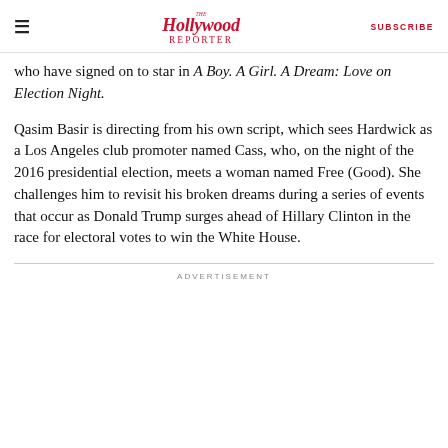The Hollywood Reporter | SUBSCRIBE
who have signed on to star in A Boy. A Girl. A Dream: Love on Election Night.
Qasim Basir is directing from his own script, which sees Hardwick as a Los Angeles club promoter named Cass, who, on the night of the 2016 presidential election, meets a woman named Free (Good). She challenges him to revisit his broken dreams during a series of events that occur as Donald Trump surges ahead of Hillary Clinton in the race for electoral votes to win the White House.
ADVERTISEMENT